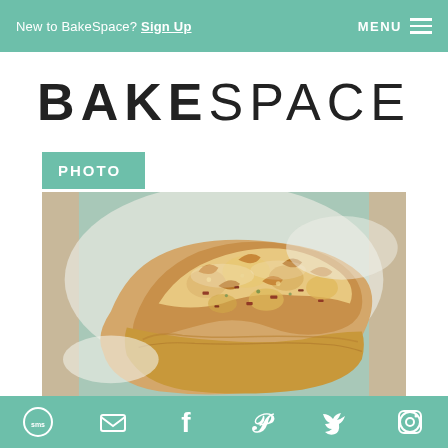New to BakeSpace? Sign Up   MENU
BAKESPACE
PHOTO
[Figure (photo): Close-up photograph of a savory scone with bacon and cheese bits on a white plate, warm golden-brown top crust with visible herbs]
SMS | Email | Facebook | Pinterest | Twitter | Other icon